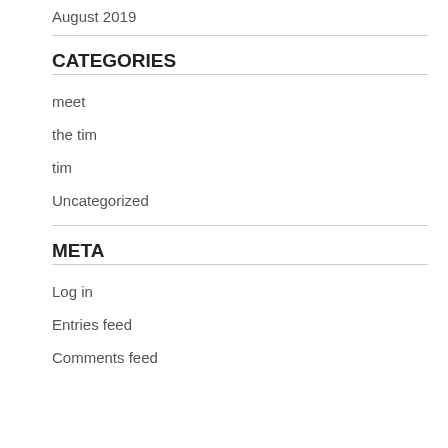August 2019
CATEGORIES
meet
the tim
tim
Uncategorized
META
Log in
Entries feed
Comments feed